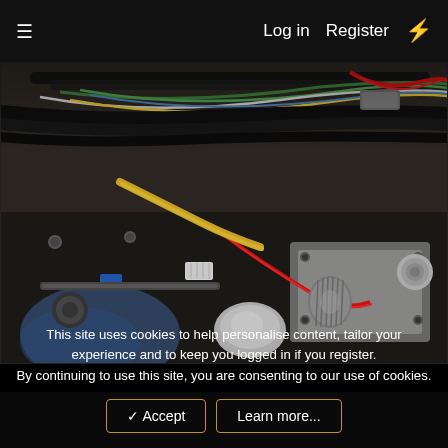≡   Log in   Register   ⚡
[Figure (photo): Close-up photograph of a vehicle engine bay showing wiring harness with coloured wires (green, red, yellow, white, blue), metal brackets, bolts, hydraulic or fuel components, and a mechanic's gloved hand in the background]
This site uses cookies to help personalise content, tailor your experience and to keep you logged in if you register.
By continuing to use this site, you are consenting to our use of cookies.
✓ Accept   Learn more...